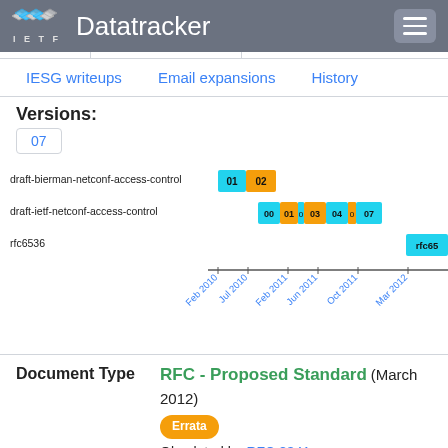IETF Datatracker
IESG writeups | Email expansions | History
Versions:
07
[Figure (bar-chart): Gantt-style horizontal bar chart showing version timelines for draft-bierman-netconf-access-control (versions 01, 02), draft-ietf-netconf-access-control (versions 00, 01, 02, 03, 04, 06, 07), and rfc6536. X-axis: Feb 2010, Jul 2010, Feb 2011, Jun 2011, Oct 2011, Mar 2012.]
Document Type
RFC - Proposed Standard (March 2012)
Errata
Obsoleted by RFC 8341